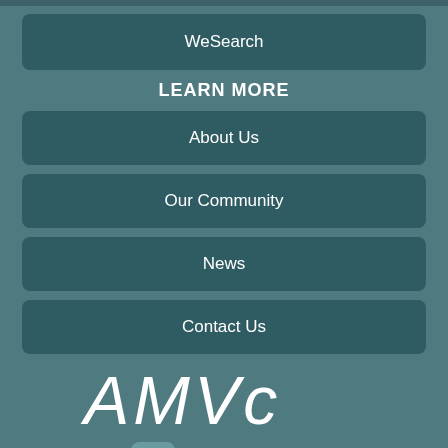WeSearch
LEARN MORE
About Us
Our Community
News
Contact Us
[Figure (logo): AMVC logo in white stylized italic text on teal background]
Veterinary Services
Management Services